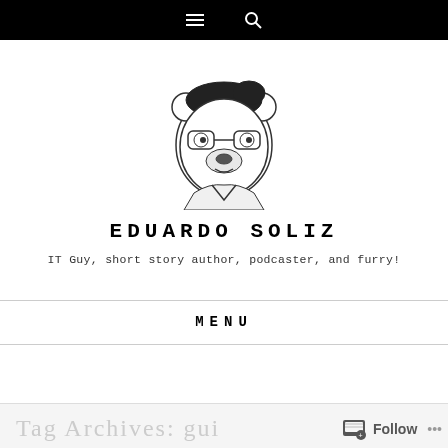Navigation bar with hamburger menu and search icons
[Figure (illustration): Hand-drawn cartoon illustration of a bear/animal character wearing glasses and a collared shirt, in black and white sketch style]
EDUARDO SOLIZ
IT Guy, short story author, podcaster, and furry!
MENU
Tag Archives: gui  Follow  ...